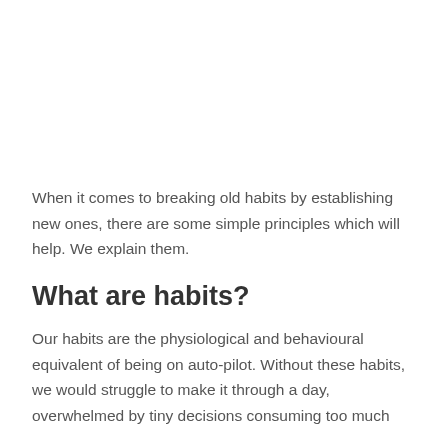When it comes to breaking old habits by establishing new ones, there are some simple principles which will help. We explain them.
What are habits?
Our habits are the physiological and behavioural equivalent of being on auto-pilot. Without these habits, we would struggle to make it through a day, overwhelmed by tiny decisions consuming too much